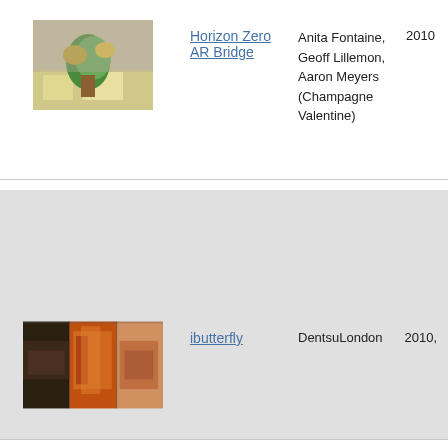[Figure (photo): Thumbnail image of Horizon Zero AR Bridge artwork showing a colorful figure on a table]
Horizon Zero AR Bridge
Anita Fontaine, Geoff Lillemon, Aaron Meyers (Champagne Valentine)
2010
[Figure (photo): Three thumbnail frames from ibutterfly video showing street scenes]
ibutterfly
DentsuLondon
2010,